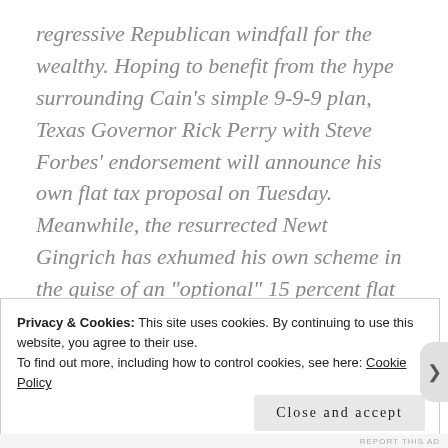regressive Republican windfall for the wealthy. Hoping to benefit from the hype surrounding Cain's simple 9-9-9 plan, Texas Governor Rick Perry with Steve Forbes' endorsement will announce his own flat tax proposal on Tuesday. Meanwhile, the resurrected Newt Gingrich has exhumed his own scheme in the guise of an "optional" 15 percent flat tax rate. And to confirm the
Privacy & Cookies: This site uses cookies. By continuing to use this website, you agree to their use.
To find out more, including how to control cookies, see here: Cookie Policy
Close and accept